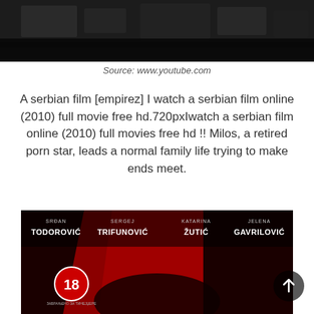[Figure (photo): Top portion of a darkened video screenshot showing a dark scene, partially cropped]
Source: www.youtube.com
A serbian film [empirez] I watch a serbian film online (2010) full movie free hd.720pxIwatch a serbian film online (2010) full movies free hd !! Milos, a retired porn star, leads a normal family life trying to make ends meet.
[Figure (photo): Movie poster for A Serbian Film featuring actor names SRĐAN TODOROVIĆ, SERGEJ TRIFUNOVIĆ, KATARINA ŽUTIĆ, JELENA GAVRILOVIĆ, with a red and black color scheme and an 18+ rating badge]